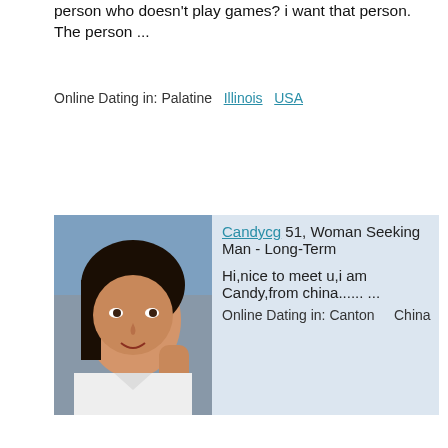person who doesn't play games? i want that person. The person ...
Online Dating in: Palatine  Illinois  USA
[Figure (photo): Profile photo of Candycg, a woman smiling with hand near face]
Candycg 51, Woman Seeking Man - Long-Term
Hi,nice to meet u,i am Candy,from china...... ...
Online Dating in: Canton    China
[Figure (photo): Profile image showing pink tulips with look4myfish.com watermark]
gigson 51, Man Seeking Woman - Other Relationship
im a nice easy going guy very shy and laid back.like to find a companion who wants to share time with. ...
Online Dating in: walling  Tennessee  USA
[Figure (photo): Partial profile photo of king0, a man]
king0 47, Man Seeking Woman - Long-Term